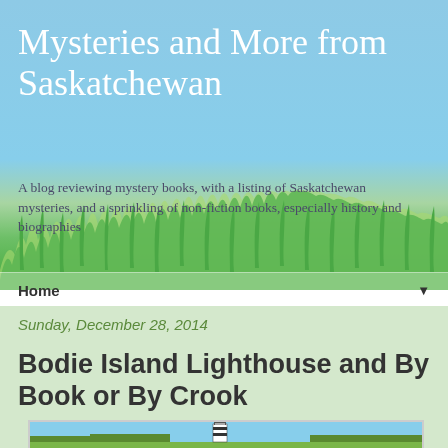Mysteries and More from Saskatchewan
A blog reviewing mystery books, with a listing of Saskatchewan mysteries, and a sprinkling of non-fiction books, especially history and biographies
Home ▼
Sunday, December 28, 2014
Bodie Island Lighthouse and By Book or By Crook
[Figure (photo): Photograph of Bodie Island Lighthouse, a black and white striped lighthouse against a blue sky with trees in the foreground]